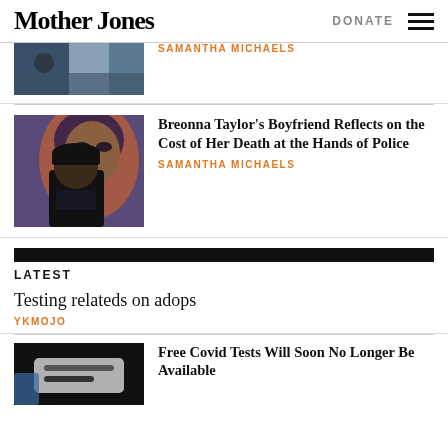Mother Jones | DONATE
[Figure (photo): Partial view of a protest/crowd scene photo cropped at top]
SAMANTHA MICHAELS
[Figure (photo): A man in a black cap and hoodie standing in front of a colorful mural featuring a woman's face]
Breonna Taylor's Boyfriend Reflects on the Cost of Her Death at the Hands of Police
SAMANTHA MICHAELS
LATEST
Testing relateds on adops
YKMOJO
Free Covid Tests Will Soon No Longer Be Available
[Figure (photo): Close-up photo of a Covid test, dark background with gloved hands]